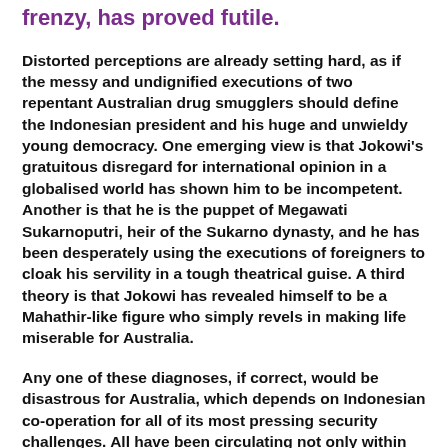frenzy, has proved futile.
Distorted perceptions are already setting hard, as if the messy and undignified executions of two repentant Australian drug smugglers should define the Indonesian president and his huge and unwieldy young democracy. One emerging view is that Jokowi's gratuitous disregard for international opinion in a globalised world has shown him to be incompetent. Another is that he is the puppet of Megawati Sukarnoputri, heir of the Sukarno dynasty, and he has been desperately using the executions of foreigners to cloak his servility in a tough theatrical guise. A third theory is that Jokowi has revealed himself to be a Mahathir-like figure who simply revels in making life miserable for Australia.
Any one of these diagnoses, if correct, would be disastrous for Australia, which depends on Indonesian co-operation for all of its most pressing security challenges. All have been circulating not only within the Australian media but also in the Indonesian sections of Australian universities and at the highest levels of